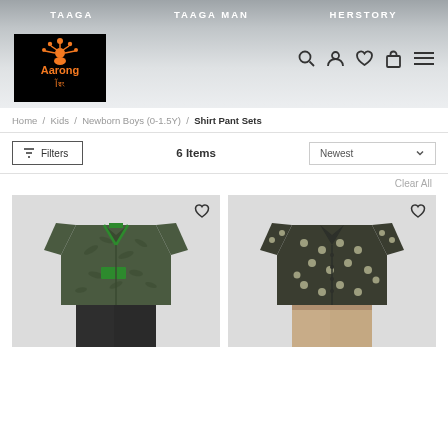TAAGA   TAAGA MAN   HERSTORY
[Figure (logo): Aarong logo - orange text and design on black background]
Home / Kids / Newborn Boys (0-1.5Y) / Shirt Pant Sets
Filters   6 Items   Newest
Clear All
[Figure (photo): Olive green tropical print short-sleeve shirt for boys with green pocket detail, paired with dark pants]
[Figure (photo): Dark olive/grey polka dot short-sleeve shirt for boys, paired with khaki/beige pants]